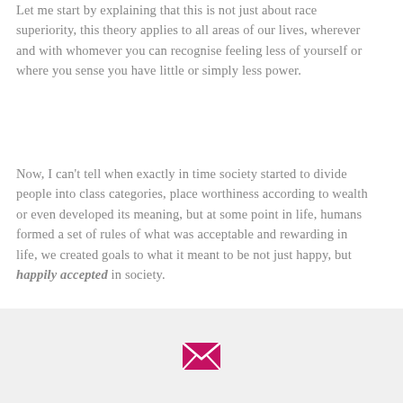Let me start by explaining that this is not just about race superiority, this theory applies to all areas of our lives, wherever and with whomever you can recognise feeling less of yourself or where you sense you have little or simply less power.
Now, I can't tell when exactly in time society started to divide people into class categories, place worthiness according to wealth or even developed its meaning, but at some point in life, humans formed a set of rules of what was acceptable and rewarding in life, we created goals to what it meant to be not just happy, but happily accepted in society.
From this point in time it is...
[Figure (other): A pink/magenta envelope icon centered in a light gray footer bar at the bottom of the page.]